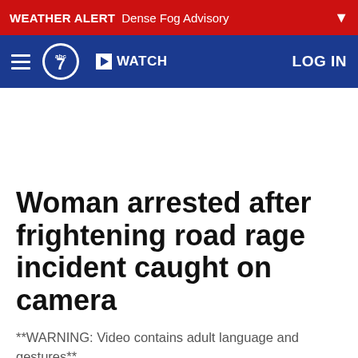WEATHER ALERT  Dense Fog Advisory
WATCH  LOG IN
Woman arrested after frightening road rage incident caught on camera
**WARNING: Video contains adult language and gestures**